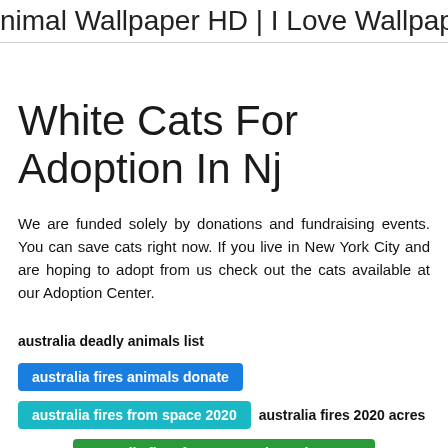nimal Wallpaper HD | I Love Wallpap
White Cats For Adoption In Nj
We are funded solely by donations and fundraising events. You can save cats right now. If you live in New York City and are hoping to adopt from us check out the cats available at our Adoption Center.
australia deadly animals list
australia fires animals donate
australia fires from space 2020
australia fires 2020 acres
australia fires from space december 2019
australian shepherd mix puppies az